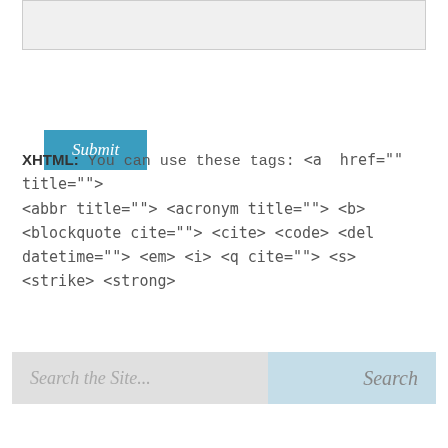[Figure (screenshot): A light gray textarea input box at the top of the page]
Submit
XHTML: You can use these tags: <a href="" title=""> <abbr title=""> <acronym title=""> <b> <blockquote cite=""> <cite> <code> <del datetime=""> <em> <i> <q cite=""> <s> <strike> <strong>
Search the Site...    Search